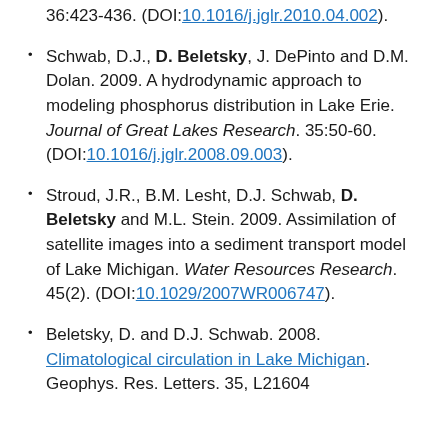36:423-436. (DOI:10.1016/j.jglr.2010.04.002).
Schwab, D.J., D. Beletsky, J. DePinto and D.M. Dolan. 2009. A hydrodynamic approach to modeling phosphorus distribution in Lake Erie. Journal of Great Lakes Research. 35:50-60. (DOI:10.1016/j.jglr.2008.09.003).
Stroud, J.R., B.M. Lesht, D.J. Schwab, D. Beletsky and M.L. Stein. 2009. Assimilation of satellite images into a sediment transport model of Lake Michigan. Water Resources Research. 45(2). (DOI:10.1029/2007WR006747).
Beletsky, D. and D.J. Schwab. 2008. Climatological circulation in Lake Michigan. Geophys. Res. Letters. 35, L21604.